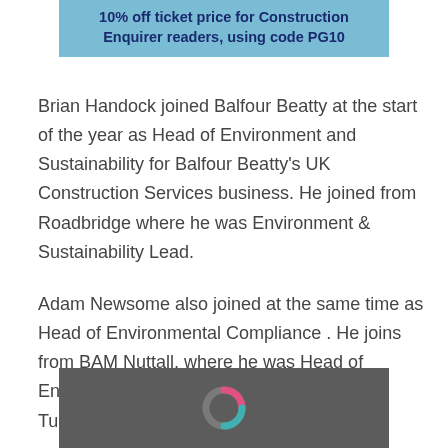[Figure (other): Blue banner with bold text: '10% off ticket price for Construction Enquirer readers, using code PG10']
Brian Handock joined Balfour Beatty at the start of the year as Head of Environment and Sustainability for Balfour Beatty's UK Construction Services business. He joined from Roadbridge where he was Environment & Sustainability Lead.
Adam Newsome also joined at the same time as Head of Environmental Compliance . He joins from BAM Nuttall, where he was Head of Environment for the company's Silvertown Tunnel project.
[Figure (logo): Dark grey banner with a partial donut/circular logo in pink and teal at the bottom of the page]